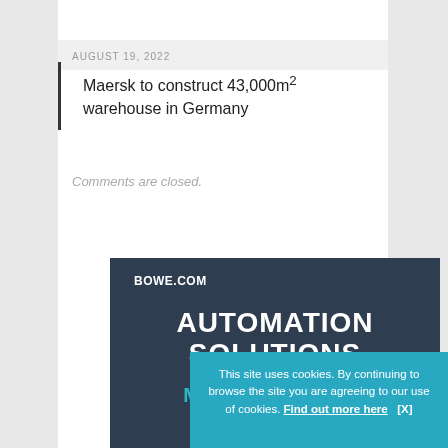[Figure (photo): Partial view of a building or warehouse, cropped at top]
AUGUST 19, 2022
Maersk to construct 43,000m² warehouse in Germany
Comments are closed.
[Figure (advertisement): BOWE.COM advertisement with dark navy background showing AUTOMATION SOLUTIONS in white and MADE BY BOWE in teal, partially obscured by cookie banner]
This site uses cookies. By continuing to browse the site you are agreeing to our use of cookies. Find out more here   [X]